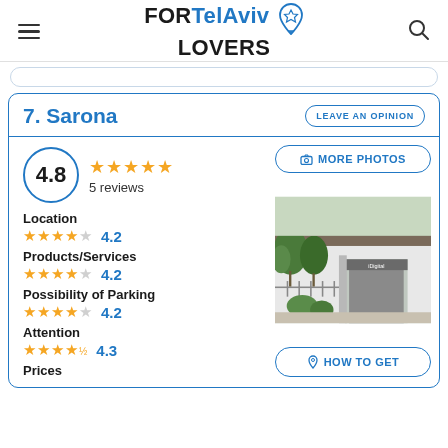FOR Tel Aviv LOVERS
7. Sarona
LEAVE AN OPINION
4.8 — 5 reviews
Location — 4.2
Products/Services — 4.2
Possibility of Parking — 4.2
Attention — 4.3
Prices
[Figure (photo): Exterior photo of a building with trees, fence, and storefront sign reading 'iDigital']
MORE PHOTOS
HOW TO GET